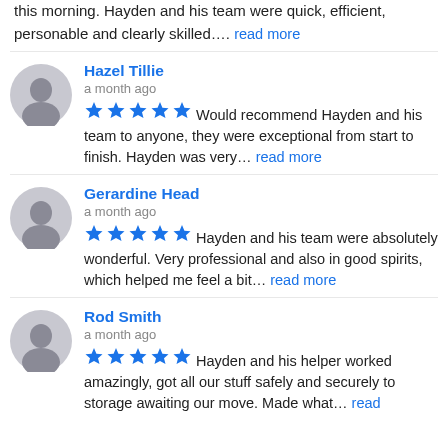this morning. Hayden and his team were quick, efficient, personable and clearly skilled…. read more
Hazel Tillie
a month ago
★★★★★ Would recommend Hayden and his team to anyone, they were exceptional from start to finish. Hayden was very… read more
Gerardine Head
a month ago
★★★★★ Hayden and his team were absolutely wonderful. Very professional and also in good spirits, which helped me feel a bit… read more
Rod Smith
a month ago
★★★★★ Hayden and his helper worked amazingly, got all our stuff safely and securely to storage awaiting our move. Made what… read